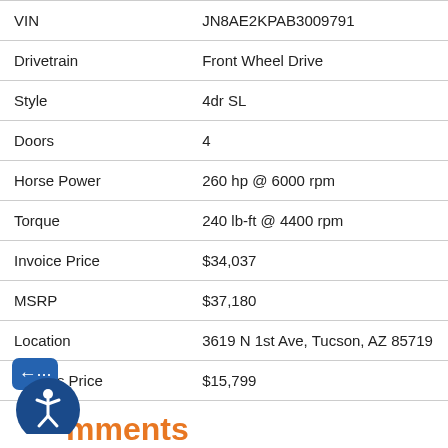| Field | Value |
| --- | --- |
| VIN | JN8AE2KPAB3009791 |
| Drivetrain | Front Wheel Drive |
| Style | 4dr SL |
| Doors | 4 |
| Horse Power | 260 hp @ 6000 rpm |
| Torque | 240 lb-ft @ 4400 rpm |
| Invoice Price | $34,037 |
| MSRP | $37,180 |
| Location | 3619 N 1st Ave, Tucson, AZ 85719 |
| Today's Price | $15,799 |
Comments
Look no further than our Accident Free Twilight Gray